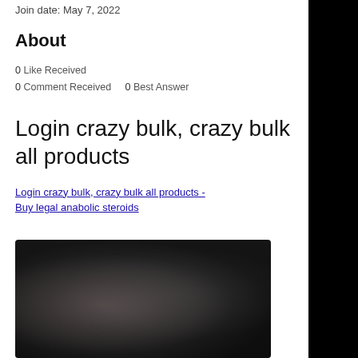Join date: May 7, 2022
About
0 Like Received
0 Comment Received   0 Best Answer
Login crazy bulk, crazy bulk all products
Login crazy bulk, crazy bulk all products - Buy legal anabolic steroids
[Figure (photo): Dark blurred photograph, likely showing a person or figure, very low visibility]